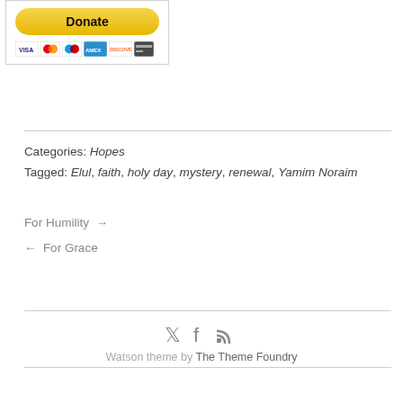[Figure (other): PayPal Donate button with Visa, Mastercard, Discover and other credit card icons inside a bordered box]
Categories: Hopes
Tagged: Elul, faith, holy day, mystery, renewal, Yamim Noraim
For Humility →
← For Grace
Watson theme by The Theme Foundry